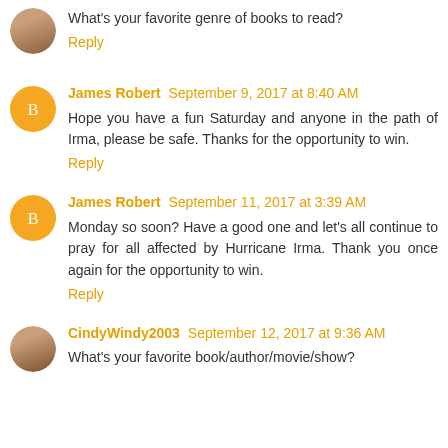What's your favorite genre of books to read?
Reply
James Robert September 9, 2017 at 8:40 AM
Hope you have a fun Saturday and anyone in the path of Irma, please be safe. Thanks for the opportunity to win.
Reply
James Robert September 11, 2017 at 3:39 AM
Monday so soon? Have a good one and let’s all continue to pray for all affected by Hurricane Irma. Thank you once again for the opportunity to win.
Reply
CindyWindy2003 September 12, 2017 at 9:36 AM
What’s your favorite book/author/movie/show?